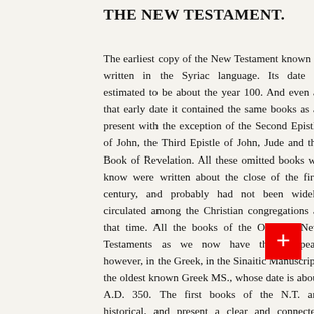THE NEW TESTAMENT.
The earliest copy of the New Testament known is written in the Syriac language. Its date is estimated to be about the year 100. And even at that early date it contained the same books as at present with the exception of the Second Epistle of John, the Third Epistle of John, Jude and the Book of Revelation. All these omitted books we know were written about the close of the first century, and probably had not been widely circulated among the Christian congregations at that time. All the books of the Old and New Testaments as we now have them appear, however, in the Greek, in the Sinaitic Manuscript, the oldest known Greek MS., whose date is about A.D. 350. The first books of the N.T. are historical, and present a clear and connected account of the life, character, circumstances, teachings and doings of Jesus of Nazareth, who claimed to be the Messiah promised in the O.T. Scriptures, and who substantiated his claim. The four accounts of the Evangelists, though they differ in phraseology, are in harmony in their statements, some important items being recorded by each which seem to have been overlooked by the others. The Evangelists testified to that of which they had personal knowledge. The Apostle John says: That which we have seen and heard declare we unto you--"that which was from the beginning (the beginning of the Lord's ministry), which